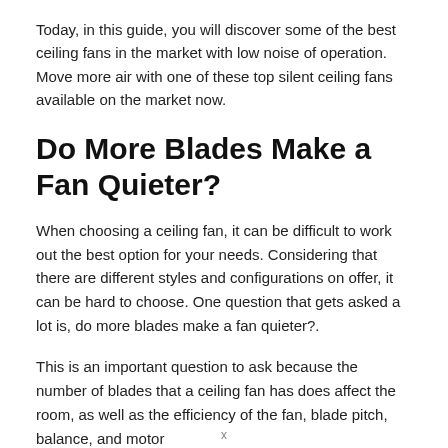Today, in this guide, you will discover some of the best ceiling fans in the market with low noise of operation. Move more air with one of these top silent ceiling fans available on the market now.
Do More Blades Make a Fan Quieter?
When choosing a ceiling fan, it can be difficult to work out the best option for your needs. Considering that there are different styles and configurations on offer, it can be hard to choose. One question that gets asked a lot is, do more blades make a fan quieter?.
This is an important question to ask because the number of blades that a ceiling fan has does affect the room, as well as the efficiency of the fan, blade pitch, balance, and motor
x